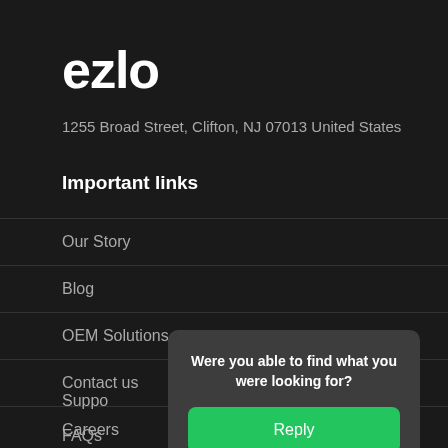ezlo
1255 Broad Street, Clifton, NJ 07013 United States
Important links
Our Story
Blog
OEM Solutions
Contact us
Careers
Suppo
FAQs
Were you able to find what you were looking for?
Reply